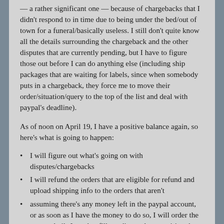— a rather significant one — because of chargebacks that I didn't respond to in time due to being under the bed/out of town for a funeral/basically useless. I still don't quite know all the details surrounding the chargeback and the other disputes that are currently pending, but I have to figure those out before I can do anything else (including ship packages that are waiting for labels, since when somebody puts in a chargeback, they force me to move their order/situation/query to the top of the list and deal with paypal's deadline).
As of noon on April 19, I have a positive balance again, so here's what is going to happen:
I will figure out what's going on with disputes/chargebacks
I will refund the orders that are eligible for refund and upload shipping info to the orders that aren't
assuming there's any money left in the paypal account, or as soon as I have the money to do so, I will order the wax and oils I need to fill pending orders requiring that wax and those oils